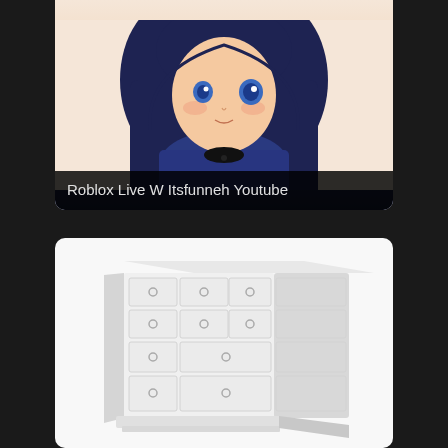[Figure (illustration): Anime-style illustration of a girl with long dark navy blue hair, blue eyes, wearing a dark blue hoodie with a black necklace, shown from the shoulders up on a light peach background]
Roblox Live W Itsfunneh Youtube
[Figure (photo): White chest of drawers / dresser with multiple drawers featuring small circular ring handles, shown at a slight angle on a white background]